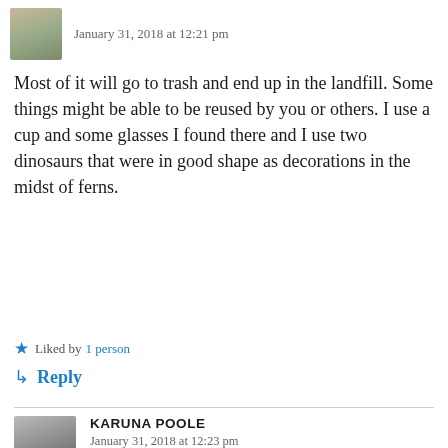January 31, 2018 at 12:21 pm
Most of it will go to trash and end up in the landfill. Some things might be able to be reused by you or others. I use a cup and some glasses I found there and I use two dinosaurs that were in good shape as decorations in the midst of ferns.
★ Liked by 1 person
↳ Reply
KARUNA POOLE
January 31, 2018 at 12:23 pm
And I kept a pair of handcuffs and a plumbers kit that were probably from the 50's as examples of treenbelt trash. They were both made of metal.